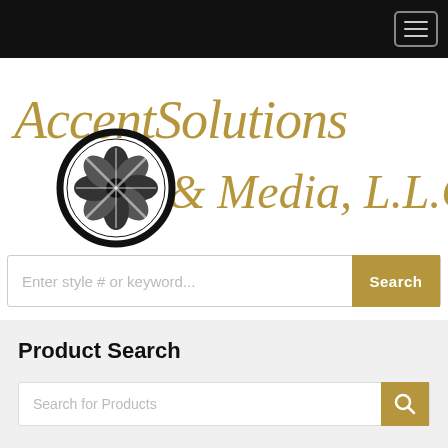[Figure (logo): AccentSolutions & Media, L.L.C. company logo with gold script text and circular black emblem]
Enter style # or keyword...
Product Search
Search for Products